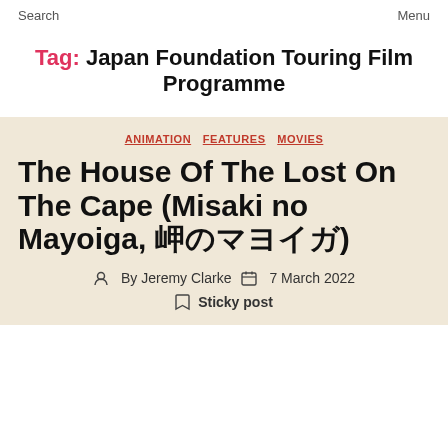Search    Menu
Tag: Japan Foundation Touring Film Programme
ANIMATION  FEATURES  MOVIES
The House Of The Lost On The Cape (Misaki no Mayoiga, 岬のマヨイガ)
By Jeremy Clarke   7 March 2022
Sticky post